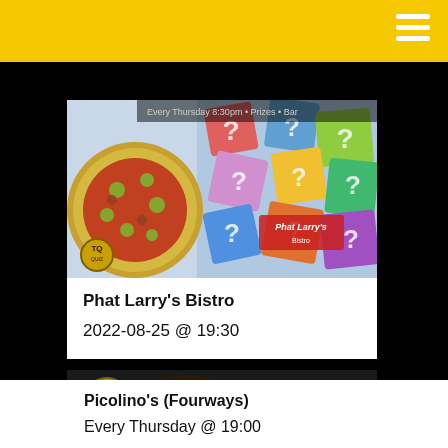[Figure (photo): Event listing image for Phat Larry's Bistro showing a pizza and colorful question mark tiles with Phat Larry's branding]
Phat Larry's Bistro
2022-08-25 @ 19:30
[Figure (photo): Event listing image for Picolino's Fourways showing a pepperoni pizza with Picolinos Addictive Pizza logo and Generator logo on dark background]
Picolino's (Fourways)
Every Thursday @ 19:00